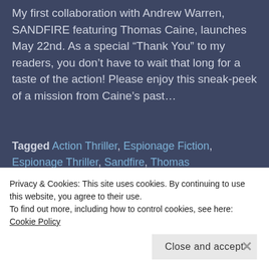My first collaboration with Andrew Warren, SANDFIRE featuring Thomas Caine, launches May 22nd. As a special “Thank You” to my readers, you don’t have to wait that long for a taste of the action! Please enjoy this sneak-peek of a mission from Caine’s past…
Tagged Action Thriller, Espionage Fiction, Espionage Thriller, Sandfire, Thomas Caine     Leave a comment
[Figure (photo): Partial view of a fire/action themed book cover image strip]
Privacy & Cookies: This site uses cookies. By continuing to use this website, you agree to their use.
To find out more, including how to control cookies, see here: Cookie Policy
Close and accept